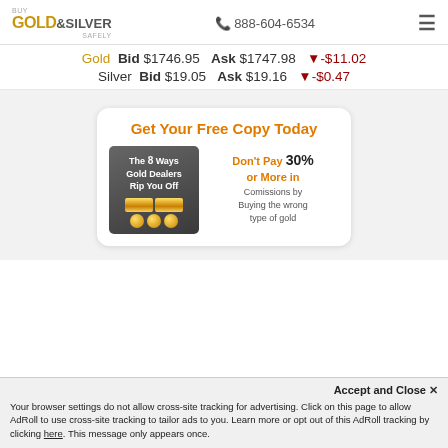Buy Gold & Silver Safely | 888-604-6534
Gold Bid $1746.95 Ask $1747.98 ▼-$11.02
Silver Bid $19.05 Ask $19.16 ▼-$0.47
[Figure (infographic): Ad card: Get Your Free Copy Today — The 8 Ways Gold Dealers Rip You Off. Don't Pay 30% or More in Comissions by Buying the wrong type of gold]
Accept and Close ✕
Your browser settings do not allow cross-site tracking for advertising. Click on this page to allow AdRoll to use cross-site tracking to tailor ads to you. Learn more or opt out of this AdRoll tracking by clicking here. This message only appears once.